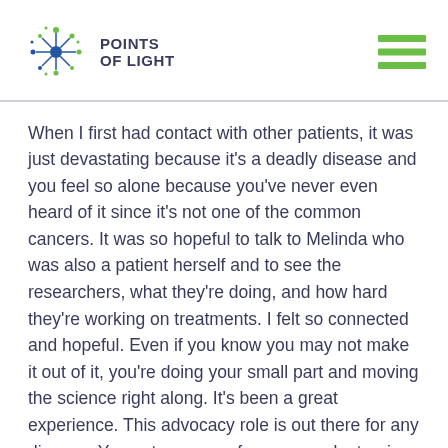[Figure (logo): Points of Light logo with stylized star/dot network icon in blue and green, and bold text 'POINTS OF LIGHT' in dark navy]
When I first had contact with other patients, it was just devastating because it's a deadly disease and you feel so alone because you've never even heard of it since it's not one of the common cancers. It was so hopeful to talk to Melinda who was also a patient herself and to see the researchers, what they're doing, and how hard they're working on treatments. I felt so connected and hopeful. Even if you know you may not make it out of it, you're doing your small part and moving the science right along. It's been a great experience. This advocacy role is out there for any disease. You get a sense of purpose volunteering and I enjoy being a part of the community and seeing people excited about the trial they get to try.